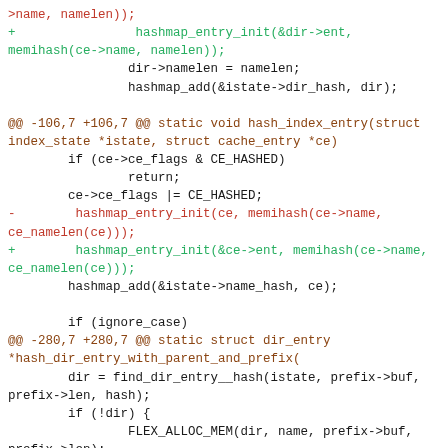[Figure (other): A git diff code block showing changes to hashmap_entry_init calls, replacing direct struct pointers with &struct->ent member references across three diff hunks.]